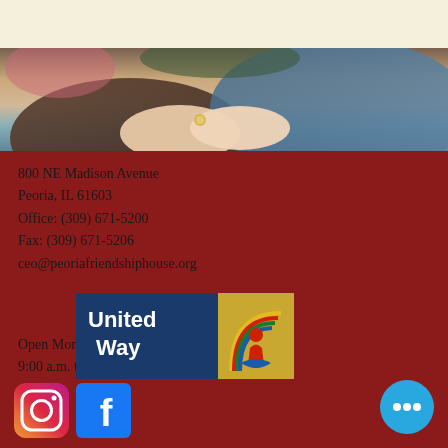[Figure (photo): Close-up photo of hands clasped together, showing people holding hands with a ring visible, wearing colorful sweaters]
800 NE Madison Avenue
Peoria, IL 61603
Office: (309) 671-5200
Fax: (309) 671-5206
ceo@peoriafriendshiphouse.org
Open Monday - Friday
9:00 a.m. to 5:30 p.m.
[Figure (logo): Instagram logo icon - gradient orange/pink circular camera icon]
[Figure (logo): Facebook logo icon - blue square with white F]
[Figure (logo): United Way logo - blue rectangle with United Way text and colorful rainbow/hand graphic]